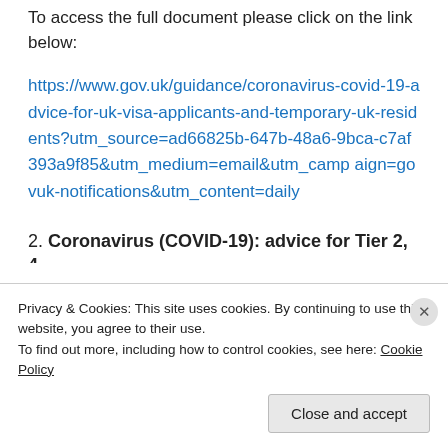To access the full document please click on the link below:
https://www.gov.uk/guidance/coronavirus-covid-19-advice-for-uk-visa-applicants-and-temporary-uk-residents?utm_source=ad66825b-647b-48a6-9bca-c7af393a9f85&utm_medium=email&utm_campaign=govuk-notifications&utm_content=daily
2. Coronavirus (COVID-19): advice for Tier 2, 4 and 5 sponsors
Privacy & Cookies: This site uses cookies. By continuing to use this website, you agree to their use.
To find out more, including how to control cookies, see here: Cookie Policy